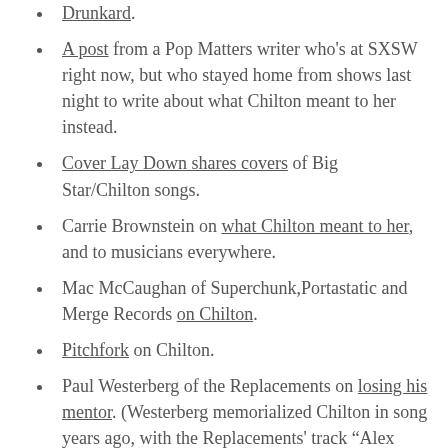Drunkard.
A post from a Pop Matters writer who's at SXSW right now, but who stayed home from shows last night to write about what Chilton meant to her instead.
Cover Lay Down shares covers of Big Star/Chilton songs.
Carrie Brownstein on what Chilton meant to her, and to musicians everywhere.
Mac McCaughan of Superchunk,Portastatic and Merge Records on Chilton.
Pitchfork on Chilton.
Paul Westerberg of the Replacements on losing his mentor. (Westerberg memorialized Chilton in song years ago, with the Replacements' track "Alex Chilton". i'm in love with that song)
A post from NPR on...